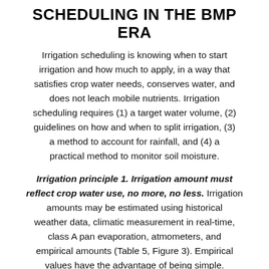SCHEDULING IN THE BMP ERA
Irrigation scheduling is knowing when to start irrigation and how much to apply, in a way that satisfies crop water needs, conserves water, and does not leach mobile nutrients. Irrigation scheduling requires (1) a target water volume, (2) guidelines on how and when to split irrigation, (3) a method to account for rainfall, and (4) a practical method to monitor soil moisture.
Irrigation principle 1. Irrigation amount must reflect crop water use, no more, no less. Irrigation amounts may be estimated using historical weather data, climatic measurement in real-time, class A pan evaporation, atmometers, and empirical amounts (Table 5, Figure 3). Empirical values have the advantage of being simple. However, they often result in excessive irrigation